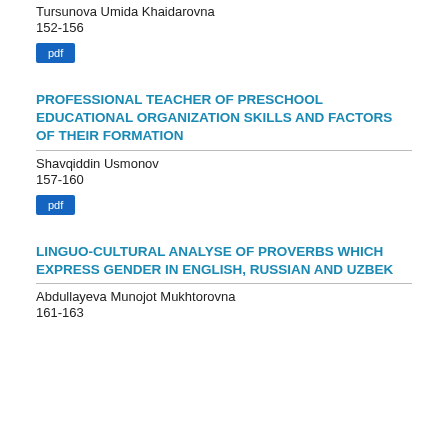Tursunova Umida Khaidarovna
152-156
pdf
PROFESSIONAL TEACHER OF PRESCHOOL EDUCATIONAL ORGANIZATION SKILLS AND FACTORS OF THEIR FORMATION
Shavqiddin Usmonov
157-160
pdf
LINGUO-CULTURAL ANALYSE OF PROVERBS WHICH EXPRESS GENDER IN ENGLISH, RUSSIAN AND UZBEK
Abdullayeva Munojot Mukhtorovna
161-163